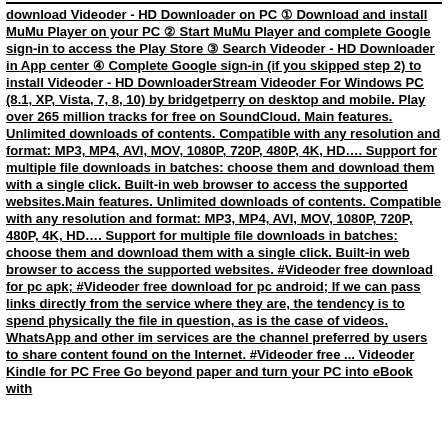download Videoder - HD Downloader on PC ① Download and install MuMu Player on your PC ② Start MuMu Player and complete Google sign-in to access the Play Store ③ Search Videoder - HD Downloader in App center ④ Complete Google sign-in (if you skipped step 2) to install Videoder - HD DownloaderStream Videoder For Windows PC (8.1, XP, Vista, 7, 8, 10) by bridgetperry on desktop and mobile. Play over 265 million tracks for free on SoundCloud. Main features. Unlimited downloads of contents. Compatible with any resolution and format: MP3, MP4, AVI, MOV, 1080P, 720P, 480P, 4K, HD…. Support for multiple file downloads in batches: choose them and download them with a single click. Built-in web browser to access the supported websites.Main features. Unlimited downloads of contents. Compatible with any resolution and format: MP3, MP4, AVI, MOV, 1080P, 720P, 480P, 4K, HD…. Support for multiple file downloads in batches: choose them and download them with a single click. Built-in web browser to access the supported websites. #Videoder free download for pc apk; #Videoder free download for pc android; If we can pass links directly from the service where they are, the tendency is to spend physically the file in question, as is the case of videos. WhatsApp and other im services are the channel preferred by users to share content found on the Internet. #Videoder free ... Videoder Kindle for PC Free Go beyond paper and turn your PC into eBook with